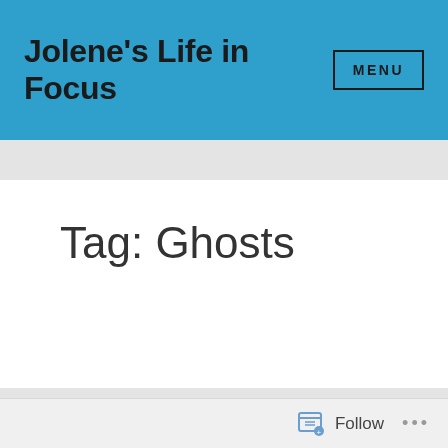Jolene's Life in Focus
MENU
Tag: Ghosts
Ireland's Most Haunted Castle
Follow